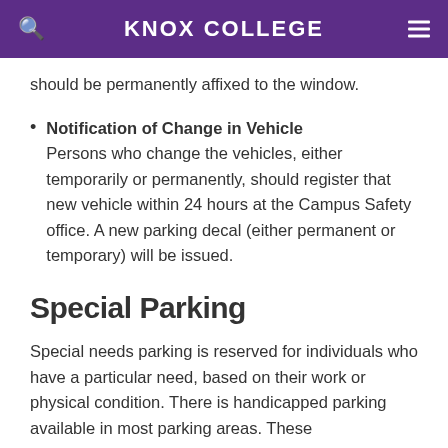KNOX COLLEGE
should be permanently affixed to the window.
Notification of Change in Vehicle Persons who change the vehicles, either temporarily or permanently, should register that new vehicle within 24 hours at the Campus Safety office. A new parking decal (either permanent or temporary) will be issued.
Special Parking
Special needs parking is reserved for individuals who have a particular need, based on their work or physical condition. There is handicapped parking available in most parking areas. These